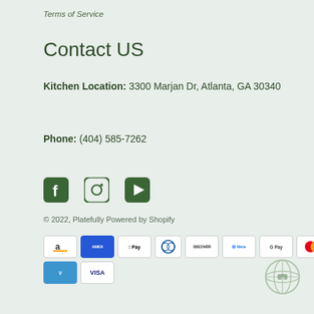Terms of Service
Contact US
Kitchen Location: 3300 Marjan Dr, Atlanta, GA 30340
Phone: (404) 585-7262
[Figure (other): Social media icons: Facebook, Instagram, YouTube]
© 2022, Platefully Powered by Shopify
[Figure (other): Payment method badges: Amazon, American Express, Apple Pay, Diners Club, Discover, Meta Pay, Google Pay, Mastercard, PayPal, Venmo, Visa]